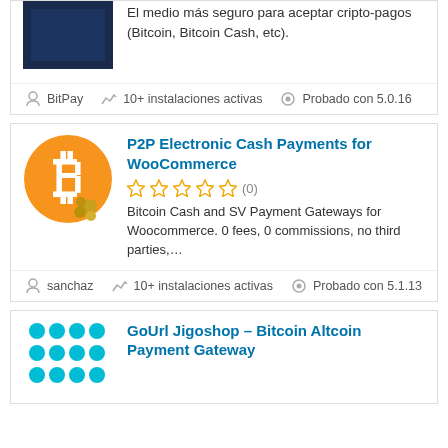[Figure (screenshot): Top partial plugin card showing a dark blue image on the left and Spanish text description on the right: 'El medio más seguro para aceptar cripto-pagos (Bitcoin, Bitcoin Cash, etc).']
BitPay
10+ instalaciones activas
Probado con 5.0.16
[Figure (illustration): Bitcoin logo: orange circle with white B currency symbol and small coins at the bottom right.]
P2P Electronic Cash Payments for WooCommerce
[Figure (other): 5 empty/outline star rating icons followed by (0)]
Bitcoin Cash and SV Payment Gateways for Woocommerce. 0 fees, 0 commissions, no third parties,...
sanchaz
10+ instalaciones activas
Probado con 5.1.13
GoUrl Jigoshop – Bitcoin Altcoin Payment Gateway